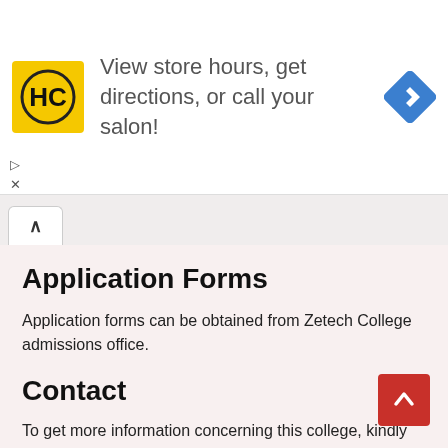[Figure (infographic): Advertisement banner showing HC logo and text 'View store hours, get directions, or call your salon!' with a navigation arrow icon]
Application Forms
Application forms can be obtained from Zetech College admissions office.
Contact
To get more information concerning this college, kindly use the contacts below.
Zetech College
Physical Location: Pioneer House 1ST floor, Moi Avenue Haile Selassie